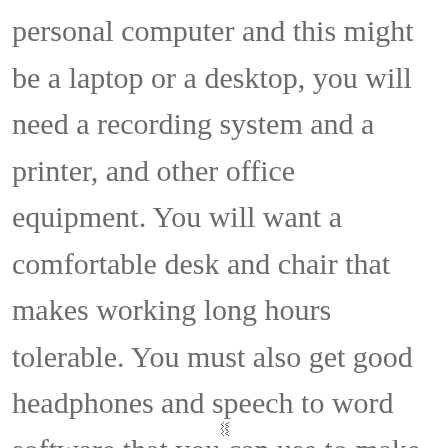personal computer and this might be a laptop or a desktop, you will need a recording system and a printer, and other office equipment. You will want a comfortable desk and chair that makes working long hours tolerable. You must also get good headphones and speech to word software that you can use to make your work less cumbersome
v